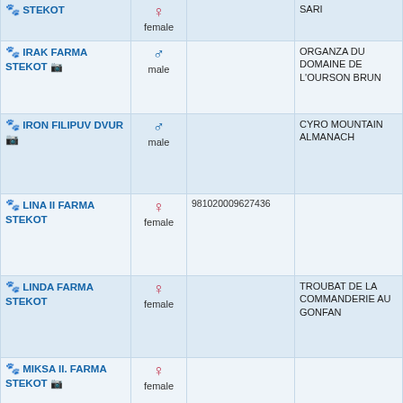| Name | Sex | Chip | Sire |  |
| --- | --- | --- | --- | --- |
| STEKOT | female |  | SARI | ST |
| IRAK FARMA STEKOT | male |  | ORGANZA DU DOMAINE DE L'OURSON BRUN | BA ST |
| IRON FILIPUV DVUR | male |  | CYRO MOUNTAIN ALMANACH | VE LA BO |
| LINA II FARMA STEKOT | female | 981020009627436 |  |  |
| LINDA FARMA STEKOT | female |  | TROUBAT DE LA COMMANDERIE AU GONFAN | BA ST |
| MIKSA II. FARMA STEKOT | female |  |  |  |
| NAPP FILIPUV DVUR | male |  | IRON FILIPUV DVUR | CH FIL |
| PISTA FARMA STEKOT | male |  | HIGHLANDS NORDIC DREAMER |  |
| OLA FARMA | female |  | HIGH NORDIC | S |
ДОБРО ПОЖАЛОВАТЬ в World Pedigree DataBase Pyrenean Mountain Dog
База подобных предназначена для любителей и профессионалов-владельцев Pyrenean Mountain Dog по всему миру, каждый желающий может внести свой вклад и оставить информацию о своих и чужых собаках, а так же использовать данные материалы без ограничений.
Чтобы использовать все функции в полном объеме, пожалуйста ЗАРЕГИСТРИРУЙТЕСЬ или войдите в ПРОФИЛЬ.